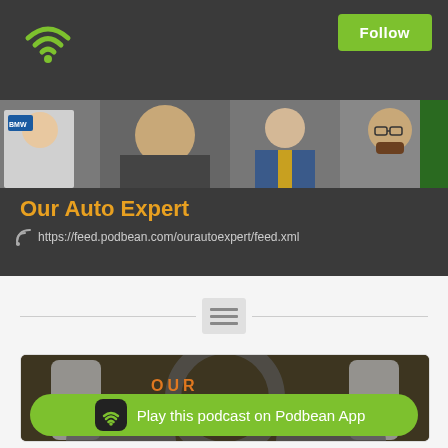[Figure (logo): Green WiFi/podcast icon on dark background top-left]
Follow
[Figure (photo): Banner photo strip showing several people including a large man in BMW racing gear, men in suits, and others]
Our Auto Expert
https://feed.podbean.com/ourautoexpert/feed.xml
[Figure (other): Hamburger/menu icon between two horizontal divider lines]
[Figure (photo): Episode thumbnail image showing 'OUR' text and people, dark background with microphone/studio elements]
Play this podcast on Podbean App